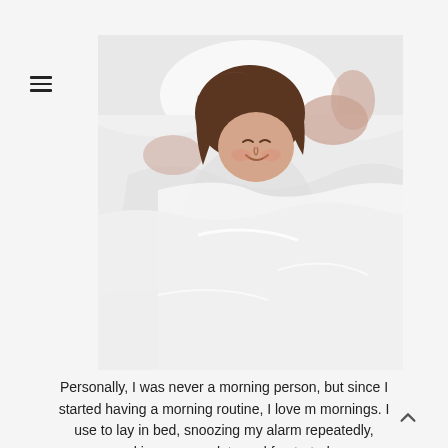[Figure (photo): Woman smiling and stretching in bed with white sheets and pillow, viewed from above]
Personally, I was never a morning person, but since I started having a morning routine, I love m mornings. I use to lay in bed, snoozing my alarm repeatedly, making me very late and frustrated.